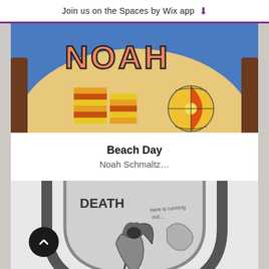Join us on the Spaces by Wix app ↓
[Figure (illustration): Child's colorful drawing with 'NOAH' text at top in orange/pink bubble letters on blue background, with striped beach towels/books and a beach ball on sandy background]
Beach Day
Noah Schmaltz…
[Figure (illustration): Pencil drawing in grayscale showing 'DEATH' text with a grim reaper figure holding a scythe inside an hourglass/arch shape, with text 'here is running out...']